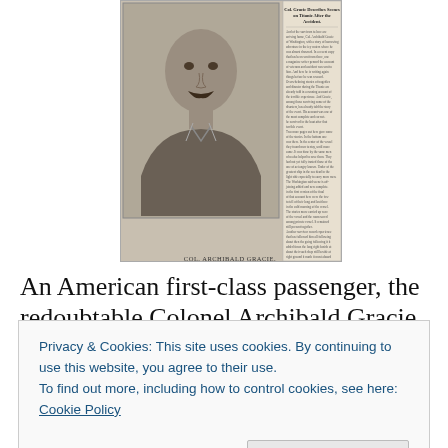[Figure (photo): Black and white portrait photograph of Colonel Archibald Gracie, a man with a mustache wearing a suit, alongside a newspaper column with headline 'Col. Gracie Describes Scenes on Titanic After the Accident.']
COL. ARCHIBALD GRACIE.
An American first-class passenger, the redoubtable Colonel Archibald Gracie, wrote the single most dramatic
Privacy & Cookies: This site uses cookies. By continuing to use this website, you agree to their use.
To find out more, including how to control cookies, see here: Cookie Policy
He told his story for the first time in the Washington Times